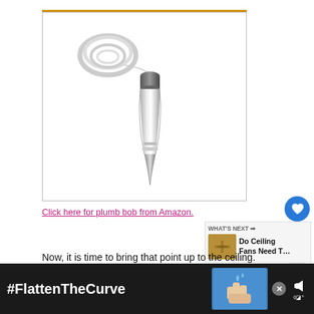[Figure (photo): Product photo of a chrome/silver plumb bob with a decorative knurled top cap, pointed tip, and a coil of white string/rope beside it, shown on a white background inside a bordered image frame with an orange bar across the top.]
Click here for plumb bob from Amazon.
Now, it is time to bring that point up to the ceiling.
For this, you will need to do this. You use a
[Figure (screenshot): Ad banner at the bottom showing '#FlattenTheCurve' text in white on a dark background, with a handwashing image, a close (X) button, and a speaker/volume icon on the right.]